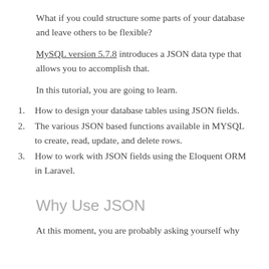What if you could structure some parts of your database and leave others to be flexible?
MySQL version 5.7.8 introduces a JSON data type that allows you to accomplish that.
In this tutorial, you are going to learn.
How to design your database tables using JSON fields.
The various JSON based functions available in MYSQL to create, read, update, and delete rows.
How to work with JSON fields using the Eloquent ORM in Laravel.
Why Use JSON
At this moment, you are probably asking yourself why